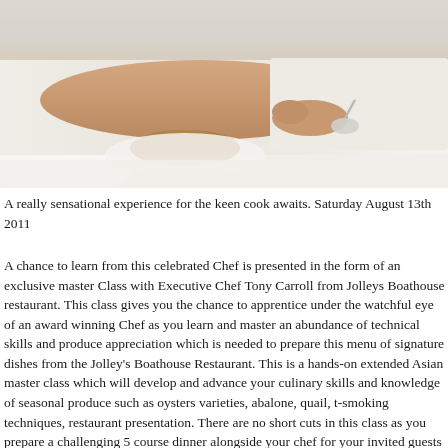[Figure (photo): Close-up photo of a chef's hands in white uniform/sleeve working with food on a white surface, with a blurred background]
A really sensational experience for the keen cook awaits. Saturday August 13th 2011
A chance to learn from this celebrated Chef is presented in the form of an exclusive master Class with Executive Chef Tony Carroll from Jolleys Boathouse restaurant. This class gives you the chance to apprentice under the watchful eye of an award winning Chef as you learn and master an abundance of technical skills and produce appreciation which is needed to prepare this menu of signature dishes from the Jolley's Boathouse Restaurant. This is a hands-on extended Asian master class which will develop and advance your culinary skills and knowledge of seasonal produce such as oysters varieties, abalone, quail, t-smoking techniques, restaurant presentation. There are no short cuts in this class as you prepare a challenging 5 course dinner alongside your chef for your invited guests who will be dining with you from 6pm onwards. A premium winemaker